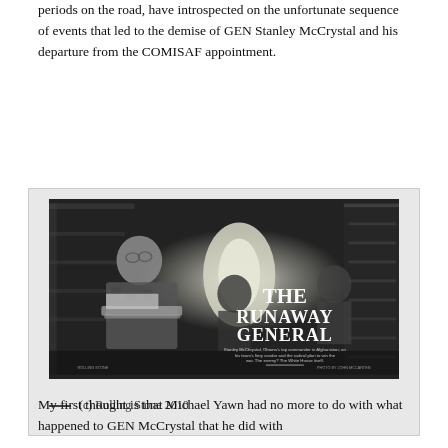periods on the road, have introspected on the unfortunate sequence of events that led to the demise of GEN Stanley McCrystal and his departure from the COMISAF appointment.
[Figure (photo): Black and white photograph from Rolling Stone magazine cover titled 'THE RUNAWAY GENERAL', showing military personnel in what appears to be a military transport aircraft.]
— (c) Rolling Stone 2010
My first thought is that Michael Yawn had no more to do with what happened to GEN McCrystal that he did with